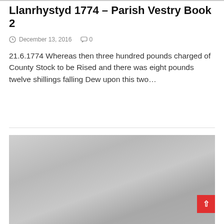Llanrhystyd 1774 – Parish Vestry Book 2
December 13, 2016   0
21.6.1774 Whereas then three hundred pounds charged of County Stock to be Rised and there was eight pounds twelve shillings falling Dew upon this two...
[Figure (photo): A grayscale/faded image, likely a scanned photograph or document image, shown below a horizontal divider. A red scroll-to-top button with a white upward arrow appears in the bottom-right corner of the image.]